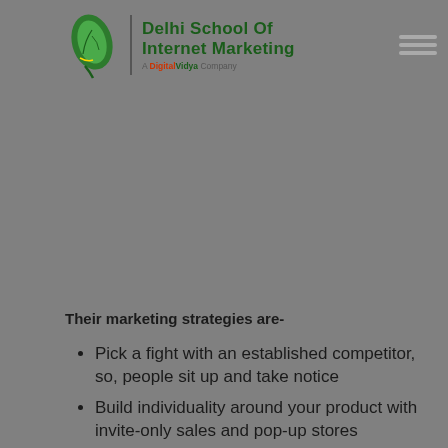[Figure (logo): Delhi School of Internet Marketing logo — green leaf icon with vertical divider, bold green text 'Delhi School Of Internet Marketing', subtitle 'A Digital Vidya Company']
Their marketing strategies are-
Pick a fight with an established competitor, so, people sit up and take notice
Build individuality around your product with invite-only sales and pop-up stores